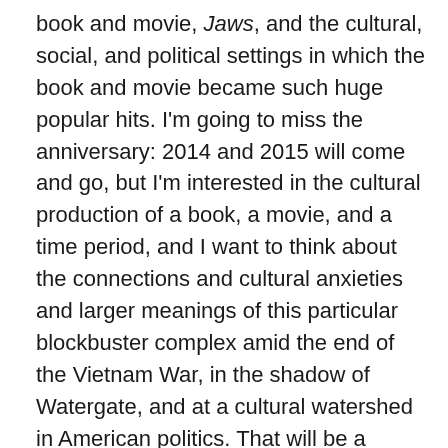book and movie, Jaws, and the cultural, social, and political settings in which the book and movie became such huge popular hits. I'm going to miss the anniversary: 2014 and 2015 will come and go, but I'm interested in the cultural production of a book, a movie, and a time period, and I want to think about the connections and cultural anxieties and larger meanings of this particular blockbuster complex amid the end of the Vietnam War, in the shadow of Watergate, and at a cultural watershed in American politics. That will be a shorter project. The last project is the one that is very new but very exciting. It's a project that deals with libertarianism, Rose Wilder Lane and the heir to the Laura Ingalls Wilder franchise, Roger Lea MacBride, who ran for president as the libertarian candidate in 1976. I'm fascinated by his relationship with Rose Wilder Lane and the ways in which a host of cultural